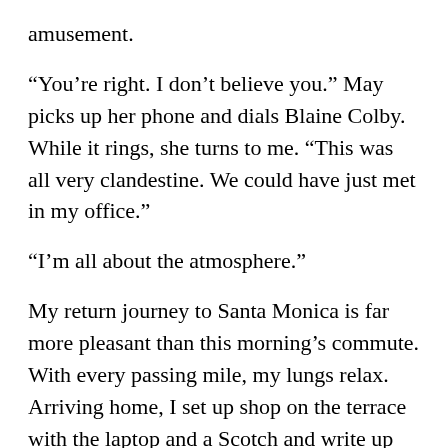amusement.
“You’re right. I don’t believe you.” May picks up her phone and dials Blaine Colby. While it rings, she turns to me. “This was all very clandestine. We could have just met in my office.”
“I’m all about the atmosphere.”
My return journey to Santa Monica is far more pleasant than this morning’s commute. With every passing mile, my lungs relax. Arriving home, I set up shop on the terrace with the laptop and a Scotch and write up the latest development I made happen in the sexual assault scandal. When it’s published, an involuntary smile creeps across my face. As much as selling Galaxy Hoppers may have been my